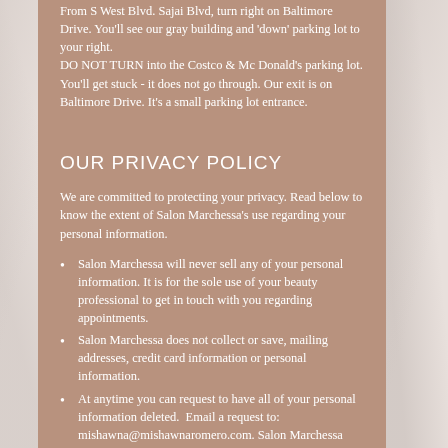From S West Blvd. Sajai Blvd, turn right on Baltimore Drive. You'll see our gray building and 'down' parking lot to your right. DO NOT TURN into the Costco & Mc Donald's parking lot. You'll get stuck - it does not go through. Our exit is on Baltimore Drive. It's a small parking lot entrance.
OUR PRIVACY POLICY
We are committed to protecting your privacy. Read below to know the extent of Salon Marchessa's use regarding your personal information.
Salon Marchessa will never sell any of your personal information. It is for the sole use of your beauty professional to get in touch with you regarding appointments.
Salon Marchessa does not collect or save, mailing addresses, credit card information or personal information.
At anytime you can request to have all of your personal information deleted.  Email a request to: mishawna@mishawnaromero.com. Salon Marchessa permanently delete your information.